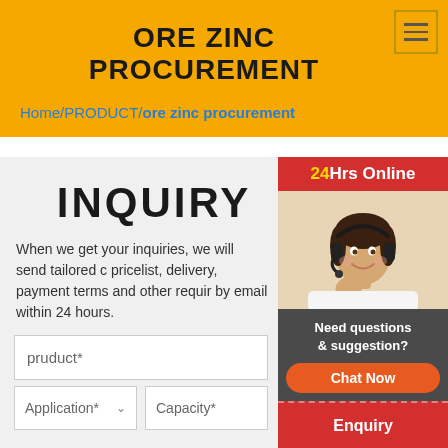ORE ZINC PROCUREMENT
Home/PRODUCT/ore zinc procurement
[Figure (screenshot): Web inquiry form page for ore zinc procurement with a customer service agent photo, 24Hrs Online banner, chat widget, Enquiry tab, and limingjlmofen tab on the right sidebar]
INQUIRY
When we get your inquiries, we will send tailored catalogue, pricelist, delivery, payment terms and other required details to you by email within 24 hours.
pruduct*
Application*
Capacity*